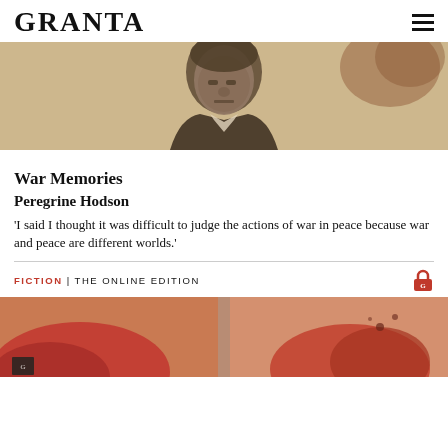GRANTA
[Figure (photo): Sepia-toned vintage portrait photograph of an older man in formal attire, cropped to show face and upper chest, with a mottled aged background.]
War Memories
Peregrine Hodson
'I said I thought it was difficult to judge the actions of war in peace because war and peace are different worlds.'
FICTION | THE ONLINE EDITION
[Figure (photo): Partial view of what appears to be a red poppy flower against a warm background, split into two panels.]